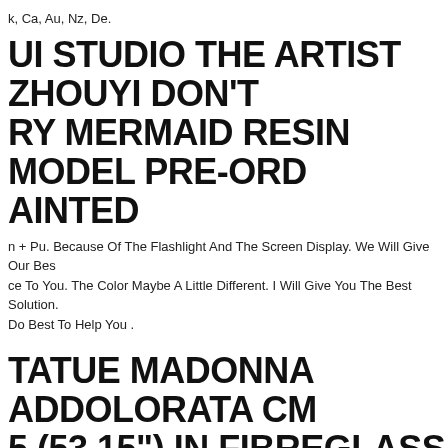k, Ca, Au, Nz, De.
UI STUDIO THE ARTIST ZHOUYI DON'T RY MERMAID RESIN MODEL PRE-ORD AINTED
n + Pu. Because Of The Flashlight And The Screen Display. We Will Give Our Best ce To You. The Color Maybe A Little Different. I Will Give You The Best Solution. Do Best To Help You .
TATUE MADONNA ADDOLORATA CM 5 (53,15") IN FIBREGLASS WITH EYES F GLASS
Statue, Entirely Created And Decorated By Hand In Italy, Is Suitable For Both Indo Outdoor Environments. Its Composition In Fiberglass In Fact Makes It Resistant T Action Of Atmospheric Agents, It Does Not Fear Humidity And Frost. It Is Therefo cularly Suitable For Display In Caves, Niches, Balconies, Window Sills And Garde ture. Its Resistance To Breaking From Falling, Higher Than Other Materials Such er Or Ceramic, Also Makes It Ideal For Interiors. The Largest Collection Of Sacre